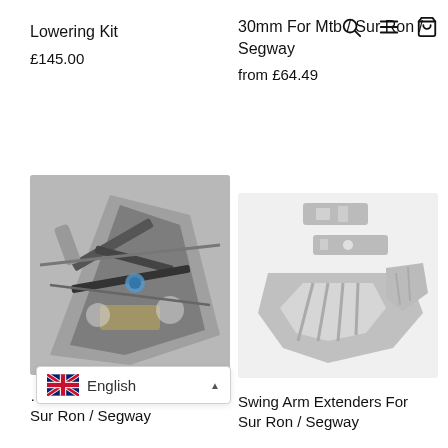[Figure (other): Search, menu, and cart icons in top right navigation]
Lowering Kit
£145.00
30mm For Mtb / Sur Ron / Segway
from £64.49
[Figure (photo): Close-up photo of Sur Ron / Segway bike frame components, showing metal parts with blue accent bolt]
[Figure (photo): Swing arm extenders parts for Sur Ron / Segway, showing metal bracket components on white background]
Sur Ron / Segway
Swing Arm Extenders For Sur Ron / Segway
[Figure (other): English language selector widget with UK flag]